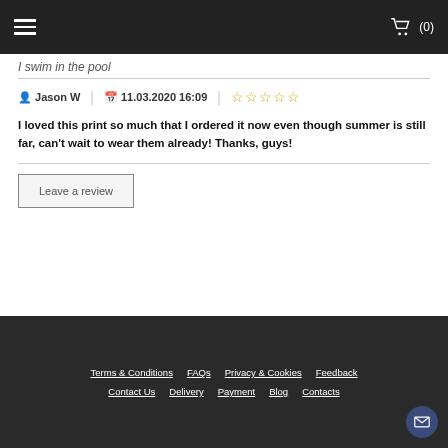(0)
I swim in the pool
Jason W  |  11.03.2020 16:09  | ☆☆☆☆☆
I loved this print so much that I ordered it now even though summer is still far, can't wait to wear them already! Thanks, guys!
Leave a review
Terms & Conditions  FAQs  Privacy & Cookies  Feedback  Contact Us  Delivery  Payment  Blog  Contacts